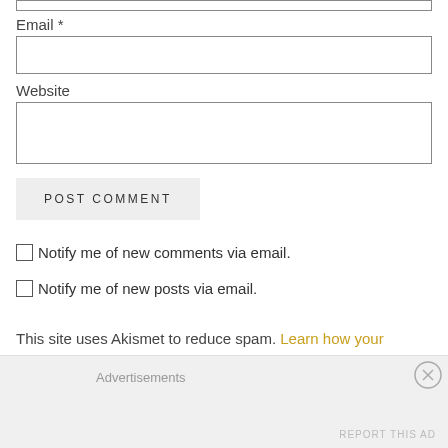Email *
Website
POST COMMENT
Notify me of new comments via email.
Notify me of new posts via email.
This site uses Akismet to reduce spam. Learn how your
Advertisements
REPORT THIS AD